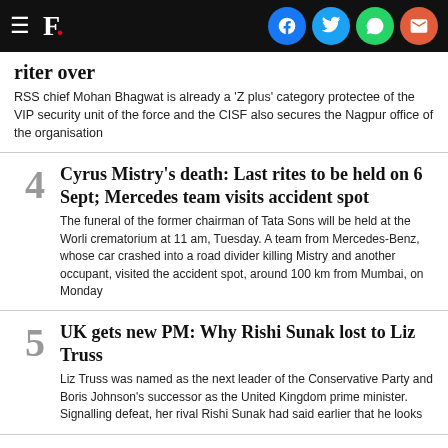F. [Firstpost logo with social share icons: Facebook, Twitter, WhatsApp, Email]
riter over
RSS chief Mohan Bhagwat is already a 'Z plus' category protectee of the VIP security unit of the force and the CISF also secures the Nagpur office of the organisation
4 Cyrus Mistry's death: Last rites to be held on 6 Sept; Mercedes team visits accident spot
The funeral of the former chairman of Tata Sons will be held at the Worli crematorium at 11 am, Tuesday. A team from Mercedes-Benz, whose car crashed into a road divider killing Mistry and another occupant, visited the accident spot, around 100 km from Mumbai, on Monday
5 UK gets new PM: Why Rishi Sunak lost to Liz Truss
Liz Truss was named as the next leader of the Conservative Party and Boris Johnson's successor as the United Kingdom prime minister. Signalling defeat, her rival Rishi Sunak had said earlier that he looks